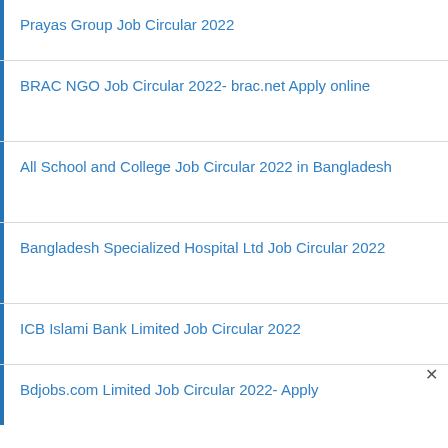Prayas Group Job Circular 2022
BRAC NGO Job Circular 2022- brac.net Apply online
All School and College Job Circular 2022 in Bangladesh
Bangladesh Specialized Hospital Ltd Job Circular 2022
ICB Islami Bank Limited Job Circular 2022
Bdjobs.com Limited Job Circular 2022- Apply